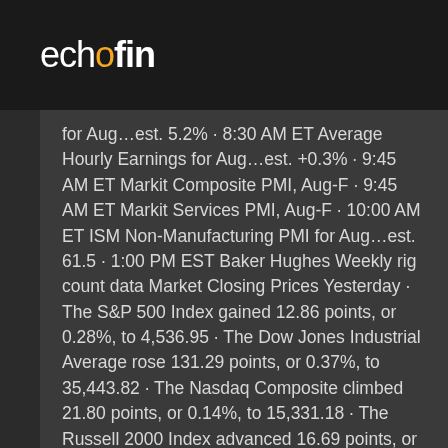echofin
for Aug…est. 5.2% · 8:30 AM ET Average Hourly Earnings for Aug…est. +0.3% · 9:45 AM ET Markit Composite PMI, Aug-F · 9:45 AM ET Markit Services PMI, Aug-F · 10:00 AM ET ISM Non-Manufacturing PMI for Aug…est. 61.5 · 1:00 PM EST Baker Hughes Weekly rig count data Market Closing Prices Yesterday · The S&P 500 Index gained 12.86 points, or 0.28%, to 4,536.95 · The Dow Jones Industrial Average rose 131.29 points, or 0.37%, to 35,443.82 · The Nasdaq Composite climbed 21.80 points, or 0.14%, to 15,331.18 · The Russell 2000 Index advanced 16.69 points, or 0.74% to 2,304.02 Macro Up/Down Last Nymex 0.26 70.25 Brent 0.47 73.50 · Japan's beleaguered Prime Minister, Yoshihide Suga, surprised markets in Asia Friday by announcing plans to step down in the coming weeks, ending